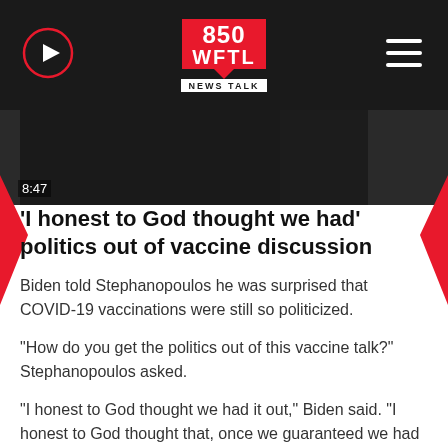850 WFTL NEWS TALK
[Figure (screenshot): Video thumbnail showing timestamp 8:47 with dark background and a person in a suit]
'I honest to God thought we had' politics out of vaccine discussion
Biden told Stephanopoulos he was surprised that COVID-19 vaccinations were still so politicized.
"How do you get the politics out of this vaccine talk?" Stephanopoulos asked.
"I honest to God thought we had it out," Biden said. "I honest to God thought that, once we guaranteed we had enough vaccine for everybody, things would start to calm down. Well, they have calmed down a great deal. But I don't quite understand – you know – I just